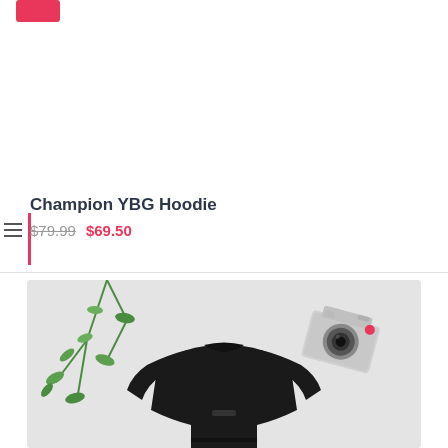[Figure (photo): Red sale badge in top left corner of a product listing page]
Champion YBG Hoodie
$79.99 $69.50
[Figure (photo): Product photo showing a black hoodie/t-shirt laid flat on a light grey surface, with a green trailing plant on the left and a vintage film camera on the right]